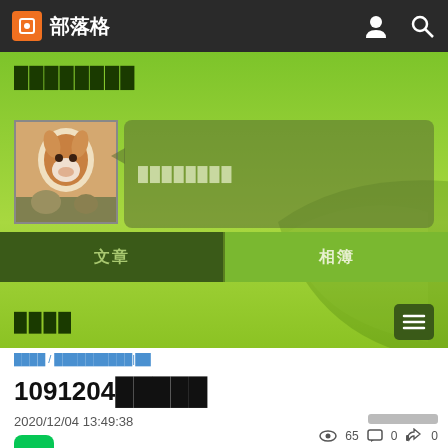部落格
████████
████████
文章  相簿
████
████ / ██████████|██
1091204█████
2020/12/04 13:49:38
👁 65  💬 0  👍 0